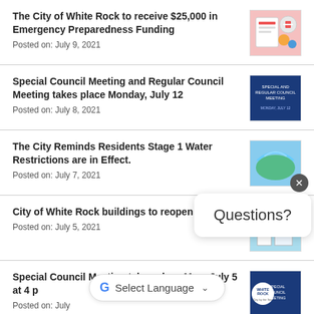The City of White Rock to receive $25,000 in Emergency Preparedness Funding
Posted on: July 9, 2021
Special Council Meeting and Regular Council Meeting takes place Monday, July 12
Posted on: July 8, 2021
The City Reminds Residents Stage 1 Water Restrictions are in Effect.
Posted on: July 7, 2021
City of White Rock buildings to reopen July 19
Posted on: July 5, 2021
Special Council Meeting takes place Mon. July 5 at 4 p
Posted on: July
Questions?
G Select Language